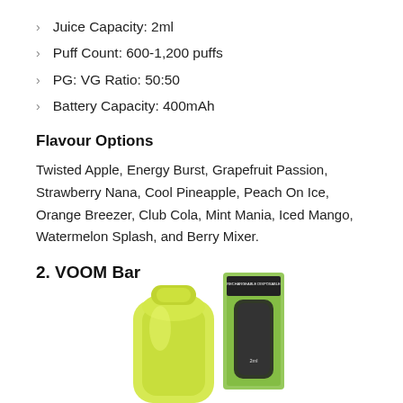Juice Capacity: 2ml
Puff Count: 600-1,200 puffs
PG: VG Ratio: 50:50
Battery Capacity: 400mAh
Flavour Options
Twisted Apple, Energy Burst, Grapefruit Passion, Strawberry Nana, Cool Pineapple, Peach On Ice, Orange Breezer, Club Cola, Mint Mania, Iced Mango, Watermelon Splash, and Berry Mixer.
2. VOOM Bar
[Figure (photo): Photo of VOOM Bar rechargeable disposable vape device in yellow-green color, shown next to its box packaging, both partially visible at bottom of page.]